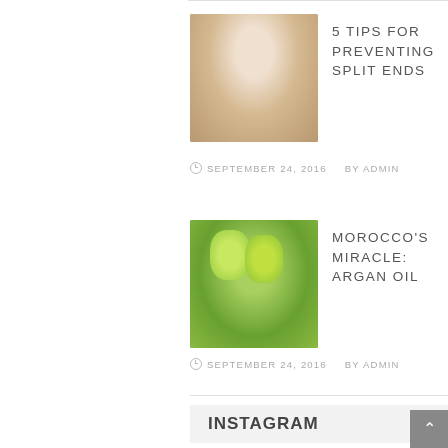[Figure (photo): Blonde woman looking up, portrait photo for '5 Tips for Preventing Split Ends' article thumbnail]
5 TIPS FOR PREVENTING SPLIT ENDS
SEPTEMBER 24, 2016   BY ADMIN
[Figure (photo): Green fruits (argan fruits) on a tree with blue sky, thumbnail for Morocco's Miracle: Argan Oil article]
MOROCCO'S MIRACLE: ARGAN OIL
SEPTEMBER 24, 2016   BY ADMIN
INSTAGRAM
Instagram has returned invalid data.